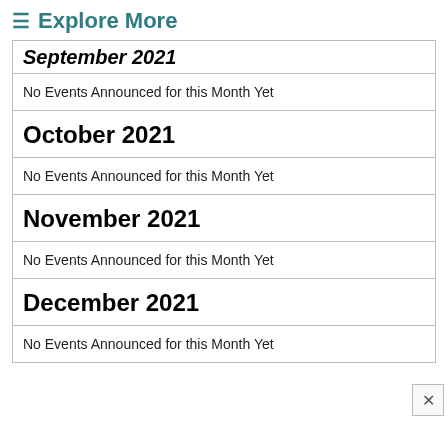≡ Explore More
September 2021
No Events Announced for this Month Yet
October 2021
No Events Announced for this Month Yet
November 2021
No Events Announced for this Month Yet
December 2021
No Events Announced for this Month Yet